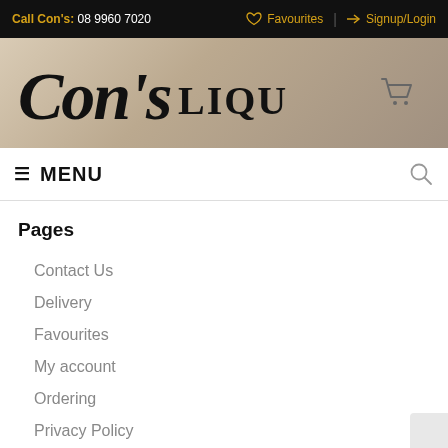Call Con's: 08 9960 7020 | Favourites | Signup/Login
[Figure (logo): Con's Liquor logo with script and serif lettering on a tan/beige background with a shopping cart icon]
MENU
Pages
Contact Us
Delivery
Favourites
My account
Ordering
Privacy Policy
Terms & Conditions